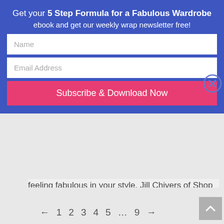Get your 5 Step Formula for a Fabulous Wardrobe ebook and get our weekly wrap newsletter free!
[Figure (screenshot): Email subscription form with Name field, Email Address field, and Subscribe & Download Now button on blue background with close (X) button]
feeling fabulous in your style, Jill Chivers of Shop Your Wardrobe and I discuss this topic again, and in this video, Jill shares her journey to feeling fabulous. How to Feel Fabulous About Your Style Jill shares that feeling fabulous about her style is a conscious...
← 1 2 3 4 5 … 9 →